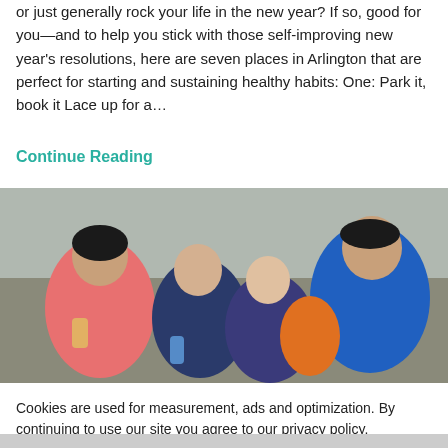or just generally rock your life in the new year? If so, good for you—and to help you stick with those self-improving new year's resolutions, here are seven places in Arlington that are perfect for starting and sustaining healthy habits: One: Park it, book it Lace up for a…
Continue Reading
[Figure (photo): Children and adults crouched down on pavement working on an activity together. One person in a pink shirt, others in blue and navy. A 'close' button overlay is visible in the center of the image.]
Cookies are used for measurement, ads and optimization. By continuing to use our site you agree to our privacy policy.
Accept